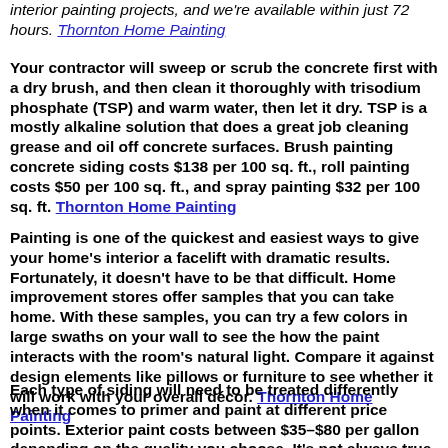interior painting projects, and we're available within just 72 hours. Thornton Home Painting
Your contractor will sweep or scrub the concrete first with a dry brush, and then clean it thoroughly with trisodium phosphate (TSP) and warm water, then let it dry. TSP is a mostly alkaline solution that does a great job cleaning grease and oil off concrete surfaces. Brush painting concrete siding costs $138 per 100 sq. ft., roll painting costs $50 per 100 sq. ft., and spray painting $32 per 100 sq. ft. Thornton Home Painting
Painting is one of the quickest and easiest ways to give your home's interior a facelift with dramatic results. Fortunately, it doesn't have to be that difficult. Home improvement stores offer samples that you can take home. With these samples, you can try a few colors in large swaths on your wall to see the how the paint interacts with the room's natural light. Compare it against design elements like pillows or furniture to see whether it will work with your overall décor. Thornton Home Painting
Each type of siding will need to be treated differently when it comes to primer and paint at different price points. Exterior paint costs between $35–$80 per gallon depending on the quality you choose. It's not always true that the more you pay for your paint, the longer-